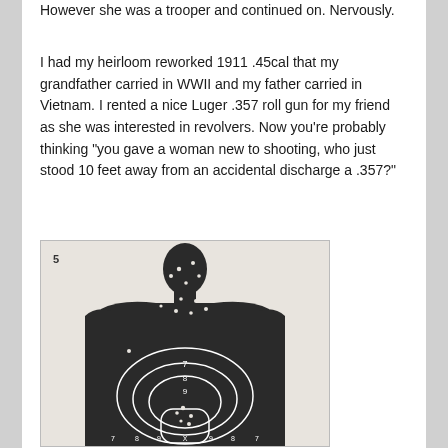However she was a trooper and continued on. Nervously.
I had my heirloom reworked 1911 .45cal that my grandfather carried in WWII and my father carried in Vietnam. I rented a nice Luger .357 roll gun for my friend as she was interested in revolvers. Now you're probably thinking "you gave a woman new to shooting, who just stood 10 feet away from an accidental discharge a .357?"
[Figure (photo): A shooting range paper target silhouette (human torso outline) with multiple bullet holes, showing scoring rings labeled 7, 8, 9, X and numbers along the bottom: 7, 8, 9, X, 9, 8, 7. The target is dark/black with white scoring rings. A number 5 is visible at top left.]